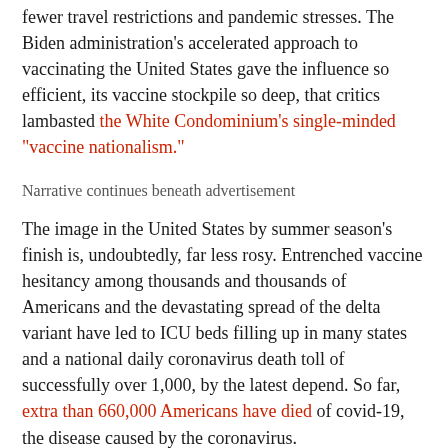fewer travel restrictions and pandemic stresses. The Biden administration's accelerated approach to vaccinating the United States gave the influence so efficient, its vaccine stockpile so deep, that critics lambasted the White Condominium's single-minded "vaccine nationalism."
Narrative continues beneath advertisement
The image in the United States by summer season's finish is, undoubtedly, far less rosy. Entrenched vaccine hesitancy among thousands and thousands of Americans and the devastating spread of the delta variant have led to ICU beds filling up in many states and a national daily coronavirus death toll of successfully over 1,000, by the latest depend. So far, extra than 660,000 Americans have died of covid-19, the disease caused by the coronavirus.
Biden and his allies pin the blame on lawful-wing media and some rival Republicans, who have politicized both the administration's efforts at a more aggressive vaccination campaign, following its...